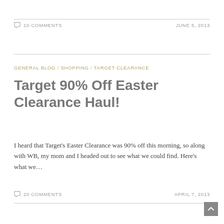10 COMMENTS    JUNE 5, 2013
GENERAL BLOG / SHOPPING / TARGET CLEARANCE
Target 90% Off Easter Clearance Haul!
I heard that Target's Easter Clearance was 90% off this morning, so along with WB, my mom and I headed out to see what we could find. Here's what we…
20 COMMENTS    APRIL 7, 2013